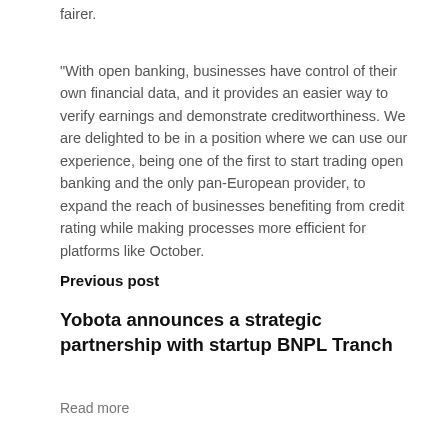fairer.
“With open banking, businesses have control of their own financial data, and it provides an easier way to verify earnings and demonstrate creditworthiness. We are delighted to be in a position where we can use our experience, being one of the first to start trading open banking and the only pan-European provider, to expand the reach of businesses benefiting from credit rating while making processes more efficient for platforms like October.
Previous post
Yobota announces a strategic partnership with startup BNPL Tranch
Read more